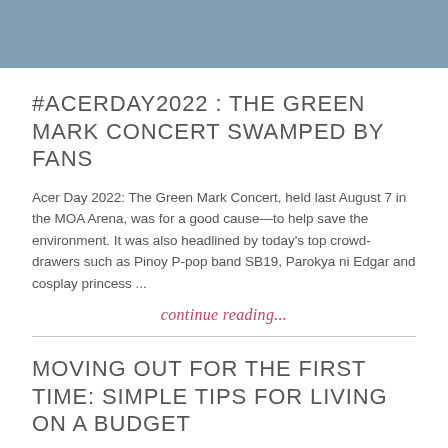[Figure (photo): Steel blue/slate colored header image banner]
#ACERDAY2022 : THE GREEN MARK CONCERT SWAMPED BY FANS
Acer Day 2022: The Green Mark Concert, held last August 7 in the MOA Arena, was for a good cause—to help save the environment. It was also headlined by today's top crowd-drawers such as Pinoy P-pop band SB19, Parokya ni Edgar and cosplay princess ...
continue reading...
MOVING OUT FOR THE FIRST TIME: SIMPLE TIPS FOR LIVING ON A BUDGET